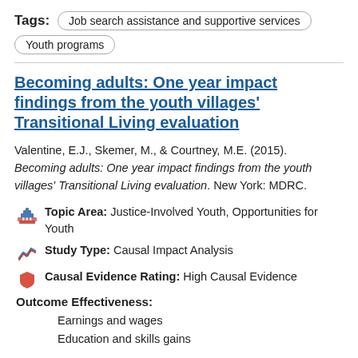Tags: Job search assistance and supportive services  Youth programs
Becoming adults: One year impact findings from the youth villages' Transitional Living evaluation
Valentine, E.J., Skemer, M., & Courtney, M.E. (2015). Becoming adults: One year impact findings from the youth villages' Transitional Living evaluation. New York: MDRC.
Topic Area: Justice-Involved Youth, Opportunities for Youth
Study Type: Causal Impact Analysis
Causal Evidence Rating: High Causal Evidence
Outcome Effectiveness:
Earnings and wages
Education and skills gains